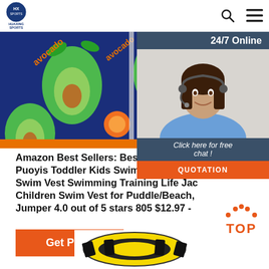[Figure (logo): Huaxing Sports logo with blue circular icon and text]
[Figure (photo): Avocado-patterned swim vest product photo with navy background and orange trim]
[Figure (photo): 24/7 Online customer service chat overlay with female agent wearing headset]
Amazon Best Sellers: Best Swim Vests Puoyis Toddler Kids Swim Life Vest, Gi Swim Vest Swimming Training Life Jac Children Swim Vest for Puddle/Beach, Jumper 4.0 out of 5 stars 805 $12.97
[Figure (other): Orange Get Price button]
[Figure (other): Orange TOP back-to-top button with dots]
[Figure (photo): Yellow and black swim vest product photo at bottom]